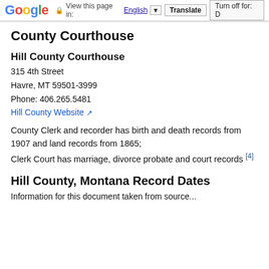Google  View this page in: English  Translate  Turn off for: D
County Courthouse
Hill County Courthouse
315 4th Street
Havre, MT 59501-3999
Phone: 406.265.5481
Hill County Website [external link]
County Clerk and recorder has birth and death records from 1907 and land records from 1865; Clerk Court has marriage, divorce probate and court records [4]
Hill County, Montana Record Dates
Information for this document taken from source...